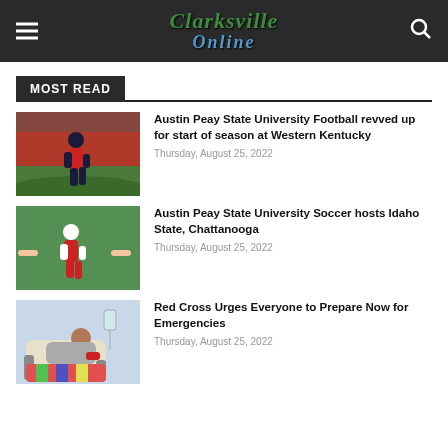Clarksville Online
MOST READ
[Figure (photo): Football player in red and black uniform running on field]
Austin Peay State University Football revved up for start of season at Western Kentucky
Thursday, August 25, 2022
[Figure (photo): Soccer player in red uniform high-fiving teammates in a tunnel]
Austin Peay State University Soccer hosts Idaho State, Chattanooga
Thursday, August 25, 2022
[Figure (photo): Woman smiling while donating blood in a medical chair]
Red Cross Urges Everyone to Prepare Now for Emergencies
Thursday, August 25, 2022